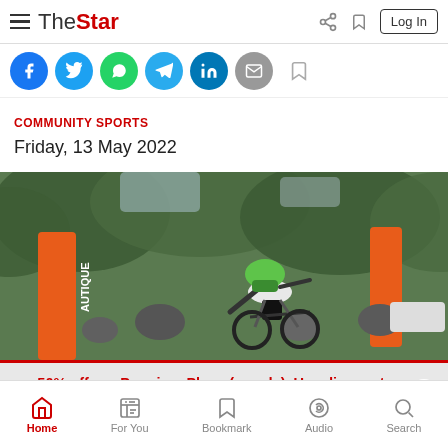The Star - navigation bar with logo, share, bookmark, Log In
[Figure (screenshot): Social media share icons: Facebook, Twitter, WhatsApp, Telegram, LinkedIn, Email, Bookmark]
COMMUNITY SPORTS
Friday, 13 May 2022
[Figure (photo): Cyclist in green helmet performing a trick at an outdoor event with orange AUTIQUE branded banners and green trees in background]
50% off our Premium Plans (no ads). Use discount code:MERDEKA. >
Home | For You | Bookmark | Audio | Search